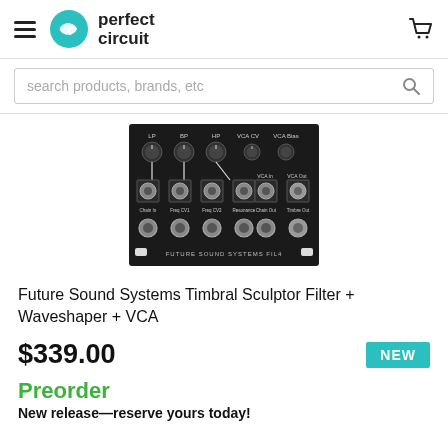perfect circuit
[Figure (screenshot): Search bar with placeholder text 'search products, brands, etc' and magnifying glass icon]
[Figure (photo): Future Sound Systems FIL4 Eurorack module - black panel with knobs and patch jacks for LP, BP, HP, VCA CV, VCA Bias, VCA In, VCA Out, Chain In, Freq CV1, Freq CV2, Resonance, Chain Out, Timbre Out]
Future Sound Systems Timbral Sculptor Filter + Waveshaper + VCA
$339.00
NEW
Preorder
New release—reserve yours today!